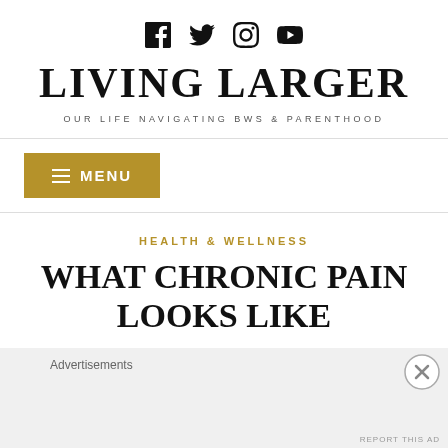[Figure (other): Social media icons: Facebook, Twitter, Instagram, YouTube]
LIVING LARGER
OUR LIFE NAVIGATING BWS & PARENTHOOD
≡ MENU
HEALTH & WELLNESS
WHAT CHRONIC PAIN LOOKS LIKE
Advertisements